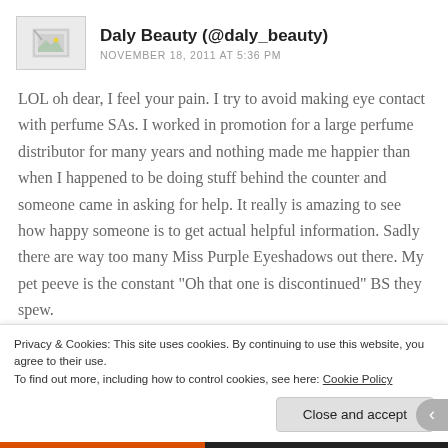[Figure (other): Broken image placeholder avatar thumbnail for Daly Beauty comment]
Daly Beauty (@daly_beauty)
NOVEMBER 18, 2011 AT 5:36 PM
LOL oh dear, I feel your pain. I try to avoid making eye contact with perfume SAs. I worked in promotion for a large perfume distributor for many years and nothing made me happier than when I happened to be doing stuff behind the counter and someone came in asking for help. It really is amazing to see how happy someone is to get actual helpful information. Sadly there are way too many Miss Purple Eyeshadows out there. My pet peeve is the constant "Oh that one is discontinued" BS they spew.
Privacy & Cookies: This site uses cookies. By continuing to use this website, you agree to their use. To find out more, including how to control cookies, see here: Cookie Policy
Close and accept